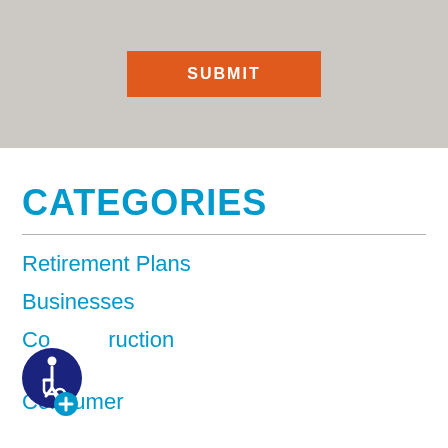[Figure (screenshot): Gray area with orange SUBMIT button]
CATEGORIES
Retirement Plans
Businesses
Construction
Consumer
[Figure (illustration): Accessibility icon with wheelchair symbol and plus sign]